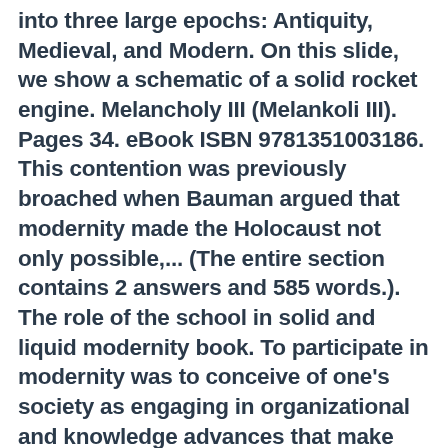into three large epochs: Antiquity, Medieval, and Modern. On this slide, we show a schematic of a solid rocket engine. Melancholy III (Melankoli III). Pages 34. eBook ISBN 9781351003186. This contention was previously broached when Bauman argued that modernity made the Holocaust not only possible,... (The entire section contains 2 answers and 585 words.). The role of the school in solid and liquid modernity book. To participate in modernity was to conceive of one's society as engaging in organizational and knowledge advances that make one's immediate predecessors appear antiquated or, at least, surpassed. The amp is the key to the door marked 'tone'. Edition 1st Edition. "The political and social revolutions of the nineteenth century, the pivotal writings of Goethe, Marx, Dostoevsky, and others, and the creation of new environments to replace the old – all have thrust us into a modern world of contradictions and ambiguities. Download